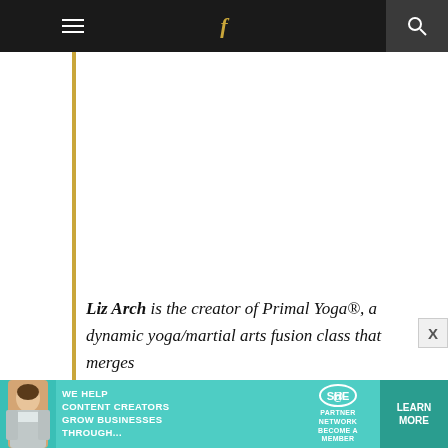≡  f  🔍
Liz Arch is the creator of Primal Yoga®, a dynamic yoga/martial arts fusion class that merges Vi... ...with the... d...
[Figure (infographic): SHE Media Partner Network advertisement banner at the bottom of the page, with text 'WE HELP CONTENT CREATORS GROW BUSINESSES THROUGH...' and a Learn More button]